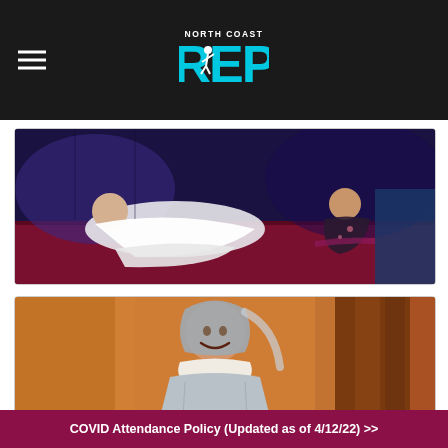North Coast REP
[Figure (photo): Theater production photo showing two performers lying/sitting on a red velvet bench or surface, one in a white costume, against a dark purple/blue stage background]
[Figure (photo): Theater production photo showing a young performer smiling, wearing a grey hooded costume with white collar (resembling Peter Pan or similar character), with warm brown/orange stage backdrop]
COVID Attendance Policy (Updated as of 4/12/22) >>